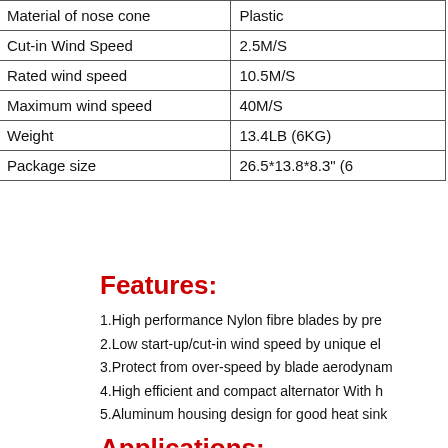| Material of nose cone | Plastic |
| Cut-in Wind Speed | 2.5M/S |
| Rated wind speed | 10.5M/S |
| Maximum wind speed | 40M/S |
| Weight | 13.4LB (6KG) |
| Package size | 26.5*13.8*8.3" (6 |
Features:
1.High performance Nylon fibre blades by pre...
2.Low start-up/cut-in wind speed by unique el...
3.Protect from over-speed by blade aerodynam...
4.High efficient and compact alternator With h...
5.Aluminum housing design for good heat sink...
Applications: